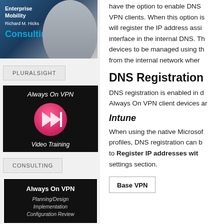[Figure (illustration): Enterprise Mobility Richard M. Hicks Consulting logo with person photo]
PLURALSIGHT
[Figure (screenshot): Always On VPN Video Training black box with play button]
CONSULTING
[Figure (illustration): Always On VPN Planning/Design Implementation Configuration Review book cover]
have the option to enable DNS registration for VPN clients. When this option is enabled, it will register the IP address assigned to the VPN interface in the internal DNS. This allows devices to be managed using the device name from the internal network when
DNS Registration
DNS registration is enabled in different ways for Always On VPN client devices an
Intune
When using the native Microsoft Intune VPN profiles, DNS registration can be enabled by setting to Register IP addresses with DNS in the settings section.
| Base VPN |
| --- |